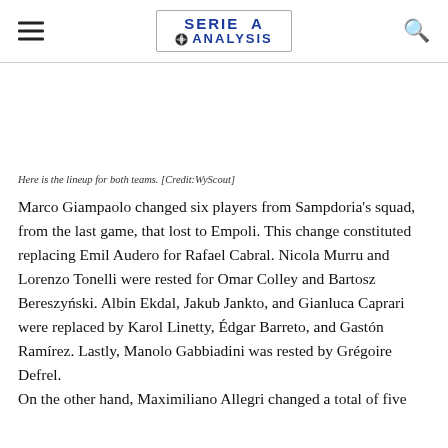SERIE A ANALYSIS
Here is the lineup for both teams. [Credit:WyScout]
Marco Giampaolo changed six players from Sampdoria's squad, from the last game, that lost to Empoli. This change constituted replacing Emil Audero for Rafael Cabral. Nicola Murru and Lorenzo Tonelli were rested for Omar Colley and Bartosz Bereszyński. Albin Ekdal, Jakub Jankto, and Gianluca Caprari were replaced by Karol Linetty, Édgar Barreto, and Gastón Ramírez. Lastly, Manolo Gabbiadini was rested by Grégoire Defrel. On the other hand, Maximiliano Allegri changed a total of five